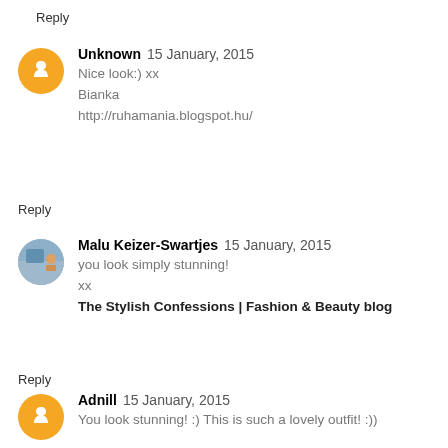Reply
Unknown  15 January, 2015
Nice look:) xx
Bianka
http://ruhamania.blogspot.hu/
Reply
Malu Keizer-Swartjes  15 January, 2015
you look simply stunning!
xx
The Stylish Confessions | Fashion & Beauty blog
Reply
Adnill  15 January, 2015
You look stunning! :) This is such a lovely outfit! :))